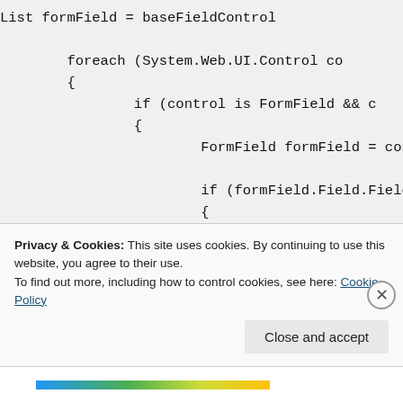List formField = baseFieldControl

            foreach (System.Web.UI.Control co
            {
                    if (control is FormField && c
                    {
                            FormField formField = con

                            if (formField.Field.Field
                            {
                                    HandleDateField(formF

                            }
Privacy & Cookies: This site uses cookies. By continuing to use this website, you agree to their use.
To find out more, including how to control cookies, see here: Cookie Policy